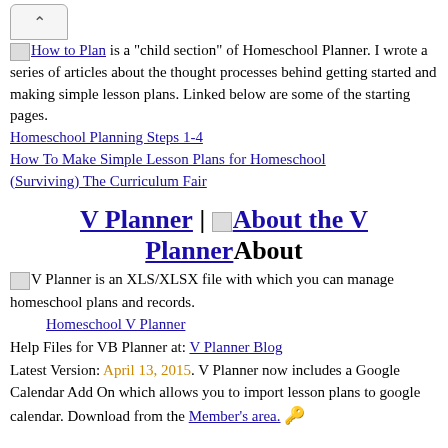[Figure (other): Scroll-up navigation button icon at top left of browser]
[Lesson Plans icon] How to Plan is a "child section" of Homeschool Planner. I wrote a series of articles about the thought processes behind getting started and making simple lesson plans. Linked below are some of the starting pages.
Homeschool Planning Steps 1-4
How To Make Simple Lesson Plans for Homeschool
(Surviving) The Curriculum Fair
V Planner | [About the V Planner icon] About the V Planner About
[vplanner icon] V Planner is an XLS/XLSX file with which you can manage homeschool plans and records.
Homeschool V Planner
Help Files for VB Planner at: V Planner Blog
Latest Version: April 13, 2015. V Planner now includes a Google Calendar Add On which allows you to import lesson plans to google calendar. Download from the Member's area. 🔑